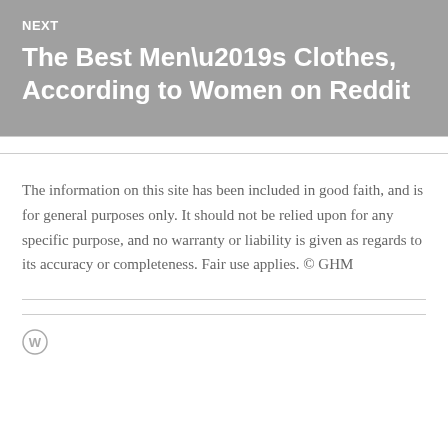NEXT
The Best Men’s Clothes, According to Women on Reddit
The information on this site has been included in good faith, and is for general purposes only. It should not be relied upon for any specific purpose, and no warranty or liability is given as regards to its accuracy or completeness. Fair use applies. © GHM
[Figure (logo): WordPress logo circle icon in grey]